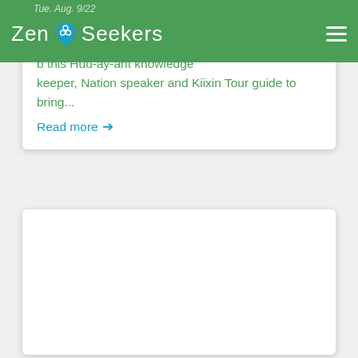Tue. Aug. 9/22
Zen Seekers
...b this Huu-ay-aht knowledge keeper, Nation speaker and Kiixin Tour guide to bring...
Read more